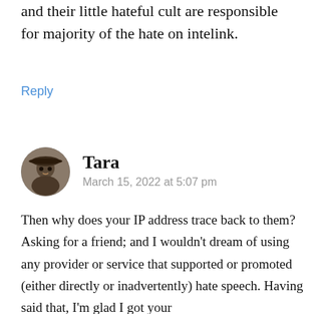and their little hateful cult are responsible for majority of the hate on intelink.
Reply
[Figure (photo): Circular avatar photo of user Tara, showing a person wearing a hat]
Tara
March 15, 2022 at 5:07 pm
Then why does your IP address trace back to them? Asking for a friend; and I wouldn't dream of using any provider or service that supported or promoted (either directly or inadvertently) hate speech. Having said that, I'm glad I got your